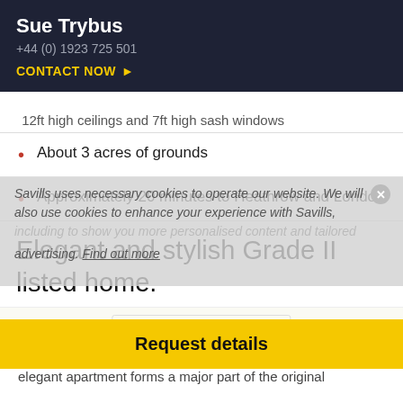Sue Trybus
+44 (0) 1923 725 501
CONTACT NOW ▶
About 3 acres of grounds
Approximately 20 minutes to Heathrow and London
Elegant and stylish Grade II listed home.
About this property
Sitting on about three acres of private land and
elegant apartment forms a major part of the original
Request details